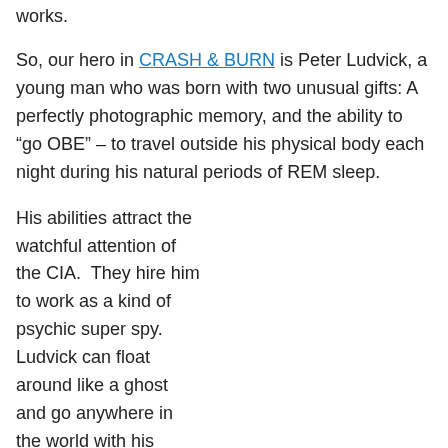works.
So, our hero in CRASH & BURN is Peter Ludvick, a young man who was born with two unusual gifts: A perfectly photographic memory, and the ability to “go OBE” – to travel outside his physical body each night during his natural periods of REM sleep.
His abilities attract the watchful attention of the CIA.  They hire him to work as a kind of psychic super spy. Ludvick can float around like a ghost and go anywhere in the world with his astral body. No barrier can stop him. Ludvick can pass through the thickest
[Figure (logo): Central Intelligence Agency seal/logo on a blue geometric background. Shows the CIA eagle and shield emblem with text reading CENTRAL INTELLIGENCE AGENCY and UNITED STATES OF AMERICA in a circular border.]